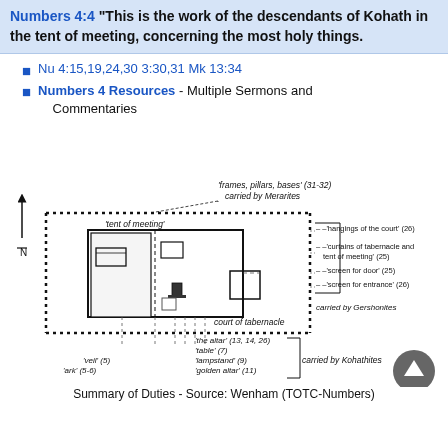Numbers 4:4 "This is the work of the descendants of Kohath in the tent of meeting, concerning the most holy things."
Nu 4:15,19,24,30 3:30,31 Mk 13:34
Numbers 4 Resources - Multiple Sermons and Commentaries
[Figure (schematic): Diagram of the tabernacle layout showing the 'tent of meeting', 'court of tabernacle', positions of items carried by Kohathites ('ark', 'veil', 'golden altar', 'lampstand', 'table', 'the altar'), items carried by Gershonites ('hangings of the court', 'curtains of tabernacle and tent of meeting', 'screen for door', 'screen for entrance'), and items carried by Merarites ('frames, pillars, bases'). North arrow shown on left. Source: Wenham (TOTC-Numbers).]
Summary of Duties - Source: Wenham (TOTC-Numbers)